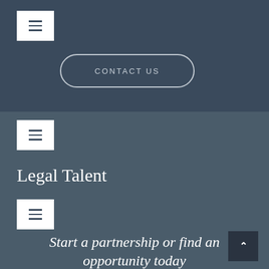[Figure (screenshot): Menu/hamburger button icon (three horizontal lines) in white box on dark blue background]
CONTACT US
[Figure (screenshot): Menu/hamburger button icon (three horizontal lines) in white box on dark teal background]
Legal Talent
[Figure (screenshot): Menu/hamburger button icon (three horizontal lines) in white box on dark teal background]
Start a partnership or find an opportunity today